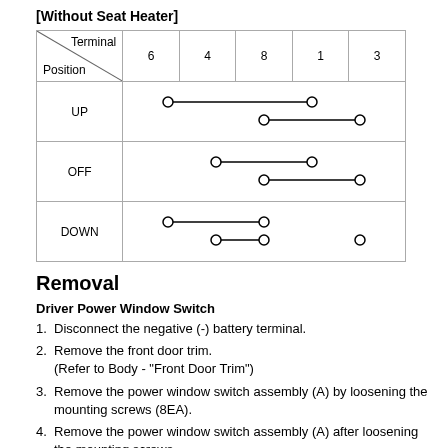[Without Seat Heater]
| Position / Terminal | 6 | 4 | 8 | 1 | 3 |
| --- | --- | --- | --- | --- | --- |
| UP | ○—————○ |  | ○——○ | ○ |
| OFF |  | ○—— | ○——○ | ○ |
| DOWN | ○—— | ○ |  | ○ |
Removal
Driver Power Window Switch
1. Disconnect the negative (-) battery terminal.
2. Remove the front door trim.
(Refer to Body - "Front Door Trim")
3. Remove the power window switch assembly (A) by loosening the mounting screws (8EA).
4. Remove the power window switch assembly (A) after loosening the mounting screws.
Assist Power Window Switch
1. Disconnect the negative (-) battery terminal.